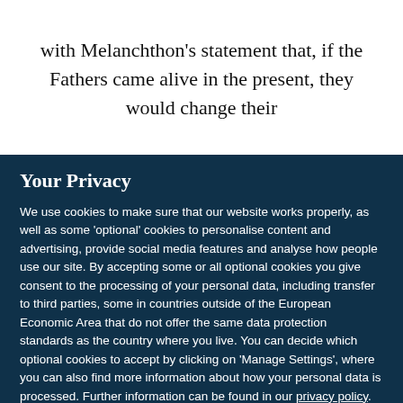with Melanchthon's statement that, if the Fathers came alive in the present, they would change their
Your Privacy
We use cookies to make sure that our website works properly, as well as some 'optional' cookies to personalise content and advertising, provide social media features and analyse how people use our site. By accepting some or all optional cookies you give consent to the processing of your personal data, including transfer to third parties, some in countries outside of the European Economic Area that do not offer the same data protection standards as the country where you live. You can decide which optional cookies to accept by clicking on 'Manage Settings', where you can also find more information about how your personal data is processed. Further information can be found in our privacy policy.
Accept all cookies
Manage preferences